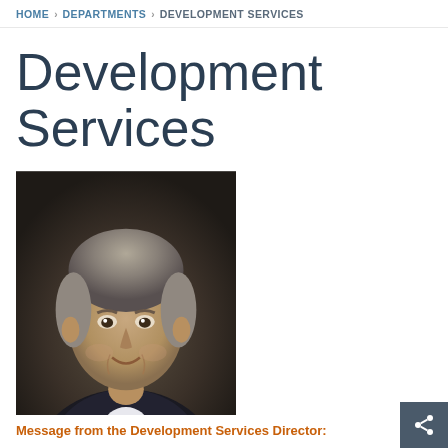HOME > DEPARTMENTS > DEVELOPMENT SERVICES
Development Services
[Figure (photo): Professional headshot of the Development Services Director, a middle-aged man with gray hair wearing a dark suit and tie, smiling, against a dark background]
Message from the Development Services Director: